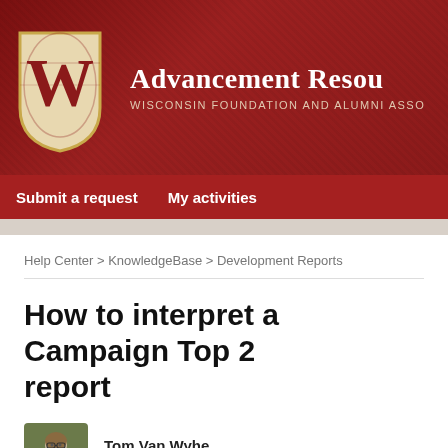[Figure (logo): University of Wisconsin-Madison W shield logo with Advancement Resources header banner. Red background with diagonal texture. Logo shows white W on cream/gold shield. Header text: 'Advancement Resou' (truncated) and 'WISCONSIN FOUNDATION AND ALUMNI ASSO' (truncated).]
Submit a request   My activities
Help Center > KnowledgeBase > Development Reports
How to interpret a Campaign Top 2 report
Tom Van Wyhe
July 15, 2016 13:46
What is included in the Campaign Top 25 by Gift Type Report?